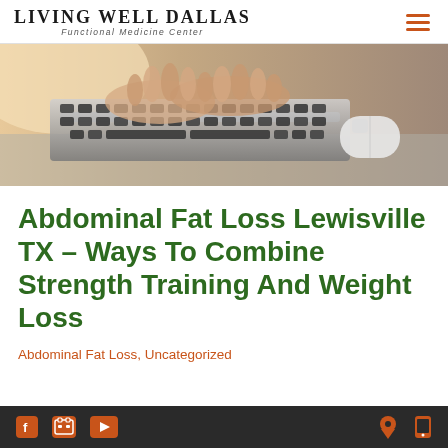LIVING WELL DALLAS — Functional Medicine Center
[Figure (photo): Close-up of hands typing on a laptop keyboard with a white mouse visible to the right, warm sunlit background]
Abdominal Fat Loss Lewisville TX – Ways To Combine Strength Training And Weight Loss
Abdominal Fat Loss, Uncategorized
Social media icons (Facebook, Google, YouTube) on left; location pin and mobile phone icons on right